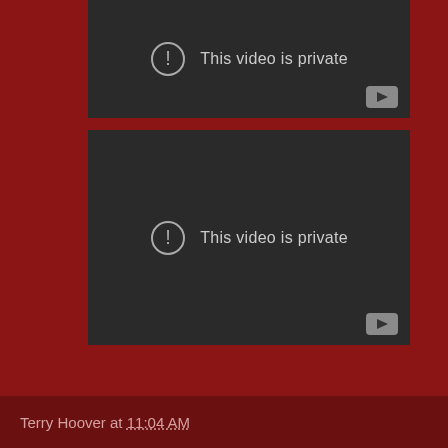[Figure (screenshot): YouTube-style embedded video player showing 'This video is private' error message on dark background with play button icon in bottom right]
[Figure (screenshot): YouTube-style embedded video player showing 'This video is private' error message on dark background with play button icon in bottom right]
Terry Hoover at 11:04 AM